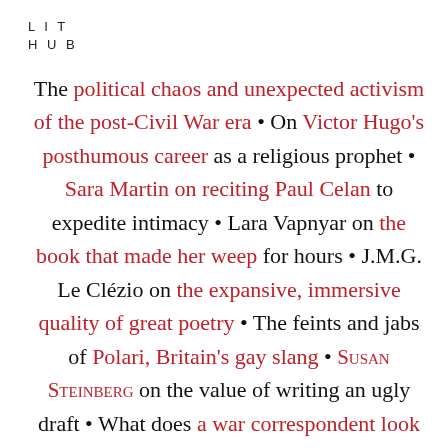LIT
HUB
The political chaos and unexpected activism of the post-Civil War era • On Victor Hugo's posthumous career as a religious prophet • Sara Martin on reciting Paul Celan to expedite intimacy • Lara Vapnyar on the book that made her weep for hours • J.M.G. Le Clézio on the expansive, immersive quality of great poetry • The feints and jabs of Polari, Britain's gay slang • Susan Steinberg on the value of writing an ugly draft • What does a war correspondent look like? Zara Meerza on